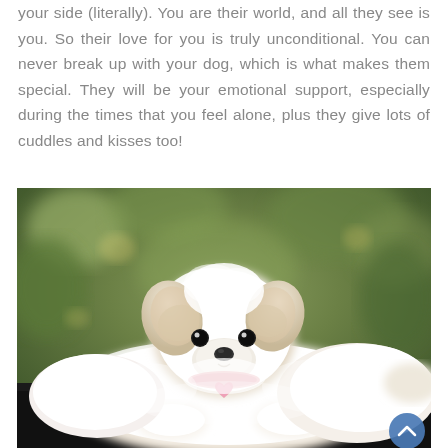your side (literally). You are their world, and all they see is you. So their love for you is truly unconditional. You can never break up with your dog, which is what makes them special. They will be your emotional support, especially during the times that you feel alone, plus they give lots of cuddles and kisses too!
[Figure (photo): A small white fluffy puppy (Maltese or similar breed) lying down on a dark surface, wearing a pink heart-shaped collar tag, with a blurred green foliage background.]